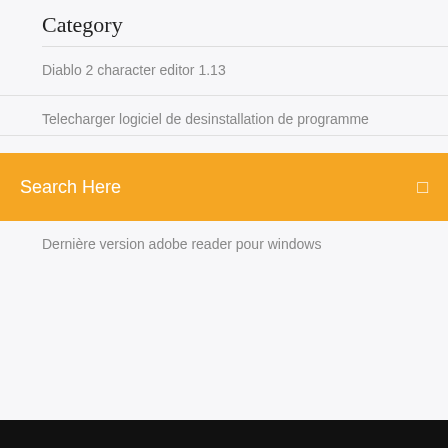Category
Diablo 2 character editor 1.13
Telecharger logiciel de desinstallation de programme
Search Here
Dernière version adobe reader pour windows